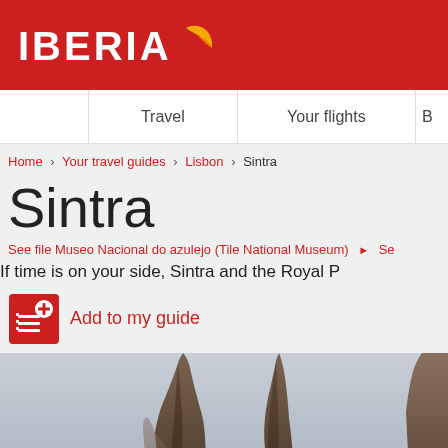[Figure (logo): Iberia airline logo: white bold IBERIA text with yellow/orange winglet graphic on red background]
Travel | Your flights | B
Home › Your travel guides › Lisbon › Sintra
Sintra
See file Museo Nacional do azulejo (Tile National Museum) ▶ Se
If time is on your side, Sintra and the Royal P
Add to my guide
[Figure (photo): Photo of tall rocky stone formations against a grey sky, resembling Sintra landscape]